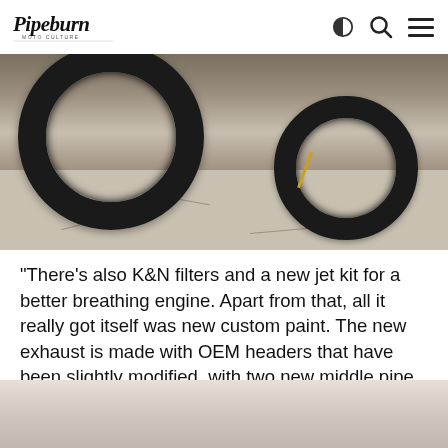Pipeburn Moto Culture [logo] [search icon] [theme toggle] [menu icon]
[Figure (photo): Close-up photograph of a motorcycle's front and rear wheels on a cracked stone/asphalt surface. The tires are knobby off-road type. A kickstand is visible supporting the bike on the right side of the frame.]
“There’s also K&N filters and a new jet kit for a better breathing engine. Apart from that, all it really got itself was new custom paint. The new exhaust is made with OEM headers that have been slightly modified, with two new middle pipe adapters, wrapping and two chrome megaphones.”
[Figure (photo): Partial view of a motorcycle in an outdoor setting, bottom portion of page, background appears light/misty.]